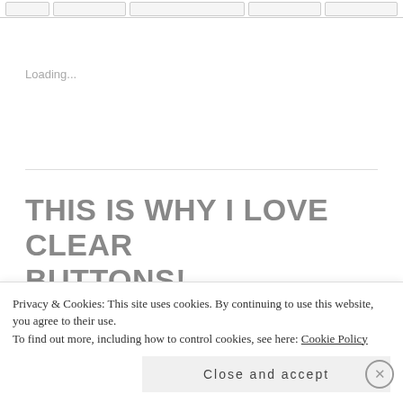[Figure (screenshot): Navigation bar with five button/tab elements across the top of the page]
Loading...
THIS IS WHY I LOVE CLEAR BUTTONS!
MARCH 28, 2014
Privacy & Cookies: This site uses cookies. By continuing to use this website, you agree to their use.
To find out more, including how to control cookies, see here: Cookie Policy
Close and accept